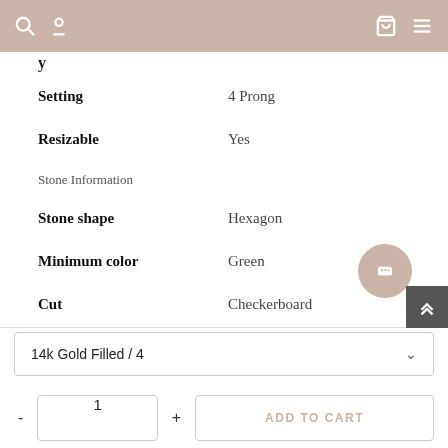Navigation bar with search, account, cart, and menu icons
Setting: 4 Prong
Resizable: Yes
Stone Information
Stone shape: Hexagon
Minimum color: Green
Cut: Checkerboard
Stone Creation Method: Simulated
14k Gold Filled / 4
1
ADD TO CART